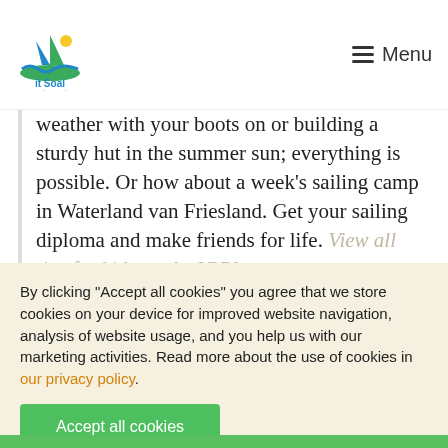[Figure (logo): it Soal logo — stylized wave and sail in blue and green with text 'it Soal' beneath]
≡ Menu
weather with your boots on or building a sturdy hut in the summer sun; everything is possible. Or how about a week's sailing camp in Waterland van Friesland. Get your sailing diploma and make friends for life. View all tips for kids on the VVV
By clicking "Accept all cookies" you agree that we store cookies on your device for improved website navigation, analysis of website usage, and you help us with our marketing activities. Read more about the use of cookies in our privacy policy.